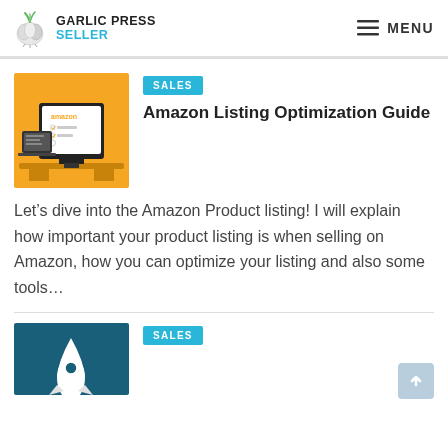GARLIC PRESS SELLER | MENU
[Figure (illustration): Orange background illustration of a computer monitor and laptop showing Amazon product listing with checklist]
SALES
Amazon Listing Optimization Guide
Let's dive into the Amazon Product listing! I will explain how important your product listing is when selling on Amazon, how you can optimize your listing and also some tools…
SALES
[Figure (illustration): Teal/dark blue background illustration with a white rocket shape, partially visible at the bottom]